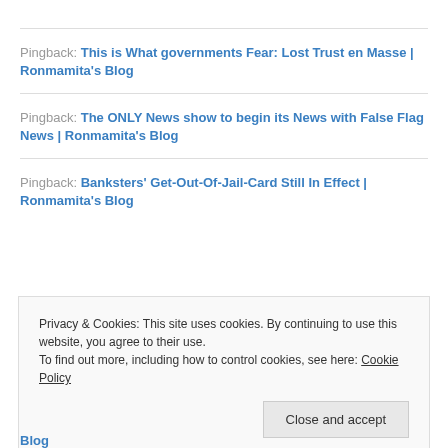Pingback: This is What governments Fear: Lost Trust en Masse | Ronmamita's Blog
Pingback: The ONLY News show to begin its News with False Flag News | Ronmamita's Blog
Pingback: Banksters' Get-Out-Of-Jail-Card Still In Effect | Ronmamita's Blog
Privacy & Cookies: This site uses cookies. By continuing to use this website, you agree to their use.
To find out more, including how to control cookies, see here: Cookie Policy
Close and accept
Blog